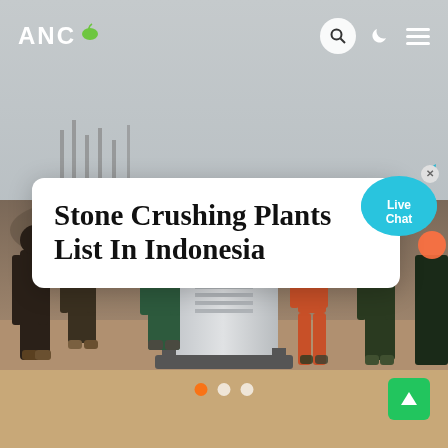ANC
[Figure (photo): Background photo of a construction site in Indonesia showing workers standing around stone crushing machine equipment on a dirt ground, with reinforcement steel bars and grey sky in the background.]
Stone Crushing Plants List In Indonesia
[Figure (infographic): Live Chat bubble widget in teal/cyan color with text 'Live Chat' and a close button]